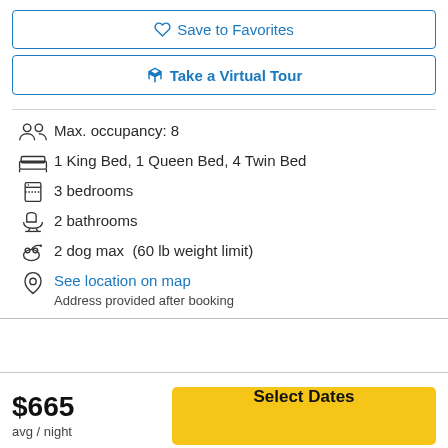♡ Save to Favorites
⬡ Take a Virtual Tour
Max. occupancy: 8
1 King Bed, 1 Queen Bed, 4 Twin Bed
3 bedrooms
2 bathrooms
2 dog max  (60 lb weight limit)
See location on map
Address provided after booking
$665
avg / night
Select Dates